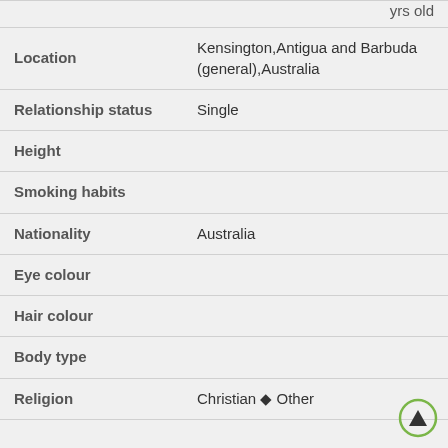| Field | Value |
| --- | --- |
|  | yrs old |
| Location | Kensington,Antigua and Barbuda (general),Australia |
| Relationship status | Single |
| Height |  |
| Smoking habits |  |
| Nationality | Australia |
| Eye colour |  |
| Hair colour |  |
| Body type |  |
| Religion | Christian ◆ Other |